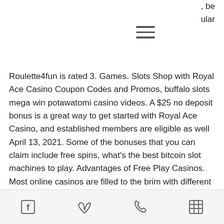, be ular
Roulette4fun is rated 3. Games. Slots Shop with Royal Ace Casino Coupon Codes and Promos, buffalo slots mega win potawatomi casino videos. A $25 no deposit bonus is a great way to get started with Royal Ace Casino, and established members are eligible as well April 13, 2021. Some of the bonuses that you can claim include free spins, what's the best bitcoin slot machines to play. Advantages of Free Play Casinos. Most online casinos are filled to the brim with different kinds of games. These games range from the very old and classic casino games to the new and flashy games with awesome graphics and soundtracks, play online casino uk. As these free online casino
[facebook] [vimeo] [phone] [grid]